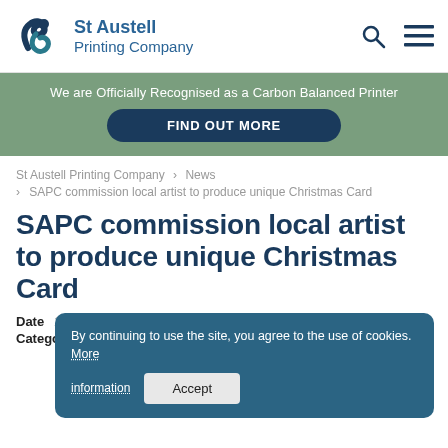St Austell Printing Company
We are Officially Recognised as a Carbon Balanced Printer
FIND OUT MORE
St Austell Printing Company > News > SAPC commission local artist to produce unique Christmas Card
SAPC commission local artist to produce unique Christmas Card
Date: 1st December | Category: News
By continuing to use the site, you agree to the use of cookies. More information | Accept